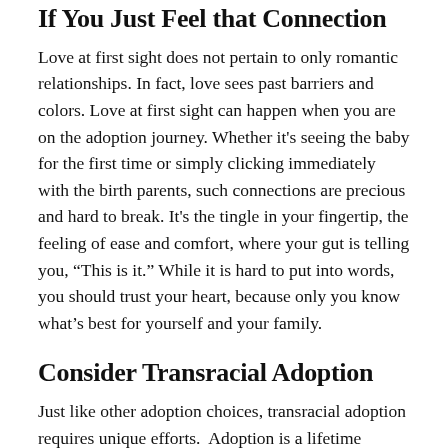If You Just Feel that Connection
Love at first sight does not pertain to only romantic relationships. In fact, love sees past barriers and colors. Love at first sight can happen when you are on the adoption journey. Whether it's seeing the baby for the first time or simply clicking immediately with the birth parents, such connections are precious and hard to break. It's the tingle in your fingertip, the feeling of ease and comfort, where your gut is telling you, “This is it.” While it is hard to put into words, you should trust your heart, because only you know what’s best for yourself and your family.
Consider Transracial Adoption
Just like other adoption choices, transracial adoption requires unique efforts. Adoption is a lifetime commitment and before making your